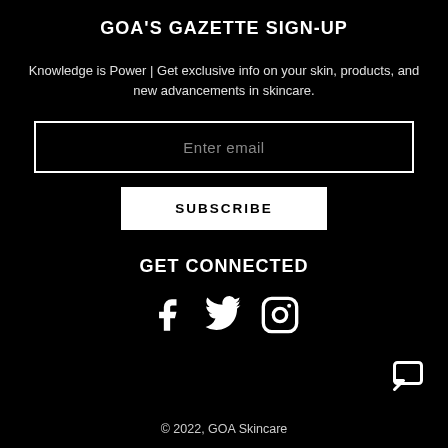GOA'S GAZETTE SIGN-UP
Knowledge is Power | Get exclusive info on your skin, products, and new advancements in skincare.
[Figure (other): Email input field with placeholder text 'Enter email']
[Figure (other): Subscribe button]
GET CONNECTED
[Figure (other): Social media icons: Facebook, Twitter, Instagram]
[Figure (other): Chat/comment icon in bottom right corner]
© 2022, GOA Skincare